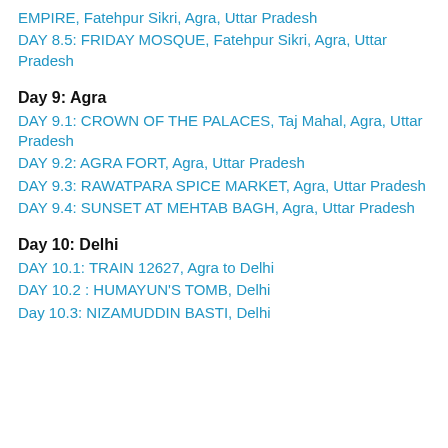EMPIRE, Fatehpur Sikri, Agra, Uttar Pradesh
DAY 8.5: FRIDAY MOSQUE, Fatehpur Sikri, Agra, Uttar Pradesh
Day 9: Agra
DAY 9.1: CROWN OF THE PALACES, Taj Mahal, Agra, Uttar Pradesh
DAY 9.2: AGRA FORT, Agra, Uttar Pradesh
DAY 9.3: RAWATPARA SPICE MARKET, Agra, Uttar Pradesh
DAY 9.4: SUNSET AT MEHTAB BAGH, Agra, Uttar Pradesh
Day 10: Delhi
DAY 10.1: TRAIN 12627, Agra to Delhi
DAY 10.2 : HUMAYUN'S TOMB, Delhi
Day 10.3: NIZAMUDDIN BASTI, Delhi